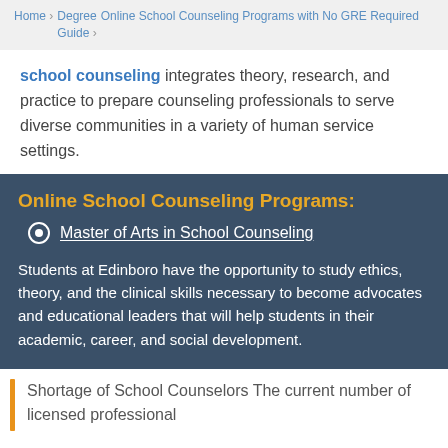Home > Degree Guide > Online School Counseling Programs with No GRE Required
school counseling integrates theory, research, and practice to prepare counseling professionals to serve diverse communities in a variety of human service settings.
Online School Counseling Programs:
Master of Arts in School Counseling
Students at Edinboro have the opportunity to study ethics, theory, and the clinical skills necessary to become advocates and educational leaders that will help students in their academic, career, and social development.
Shortage of School Counselors The current number of licensed professional